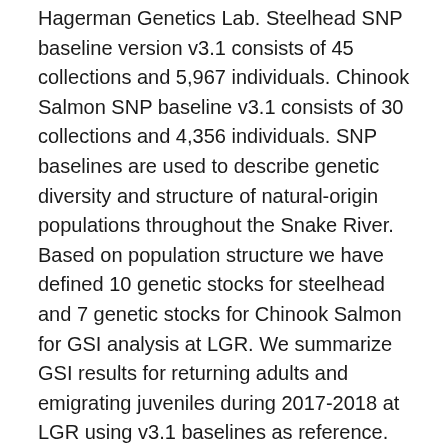Hagerman Genetics Lab. Steelhead SNP baseline version v3.1 consists of 45 collections and 5,967 individuals. Chinook Salmon SNP baseline v3.1 consists of 30 collections and 4,356 individuals. SNP baselines are used to describe genetic diversity and structure of natural-origin populations throughout the Snake River. Based on population structure we have defined 10 genetic stocks for steelhead and 7 genetic stocks for Chinook Salmon for GSI analysis at LGR. We summarize GSI results for returning adults and emigrating juveniles during 2017-2018 at LGR using v3.1 baselines as reference. Finally, we describe the life history variation and genetic diversity of steelhead and Chinook Salmon detected at IPTDS. The information presented in this report provides critical data for viable